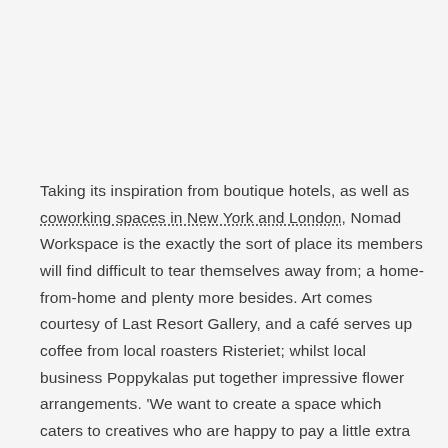Taking its inspiration from boutique hotels, as well as coworking spaces in New York and London, Nomad Workspace is the exactly the sort of place its members will find difficult to tear themselves away from; a home-from-home and plenty more besides. Art comes courtesy of Last Resort Gallery, and a café serves up coffee from local roasters Risteriet; whilst local business Poppykalas put together impressive flower arrangements. 'We want to create a space which caters to creatives who are happy to pay a little extra to live in a beautiful environment with high service,' admits co-founder Oliver Barnhard. Beautiful it is.